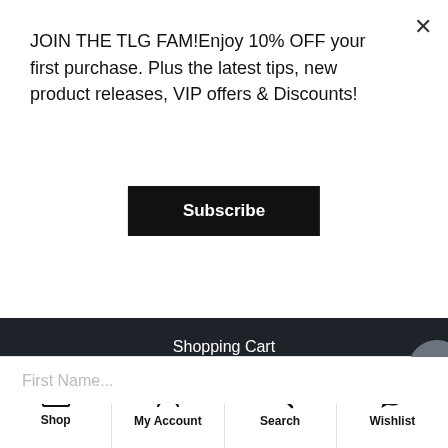JOIN THE TLG FAM!Enjoy 10% OFF your first purchase. Plus the latest tips, new product releases, VIP offers & Discounts!
Subscribe
Shopping Cart
Checkout
Need Help?
SUBSCRIBE TO OFFERS & DEALS
Sign up for offers and exclusive discounts.
First Name...
Shop
My Account
Search
Wishlist